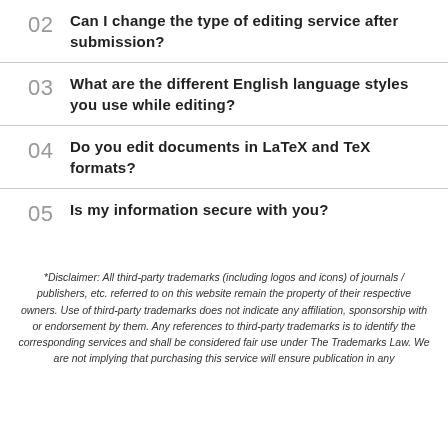02 Can I change the type of editing service after submission?
03 What are the different English language styles you use while editing?
04 Do you edit documents in LaTeX and TeX formats?
05 Is my information secure with you?
*Disclaimer: All third-party trademarks (including logos and icons) of journals / publishers, etc. referred to on this website remain the property of their respective owners. Use of third-party trademarks does not indicate any affiliation, sponsorship with or endorsement by them. Any references to third-party trademarks is to identify the corresponding services and shall be considered fair use under The Trademarks Law. We are not implying that purchasing this service will ensure publication in any